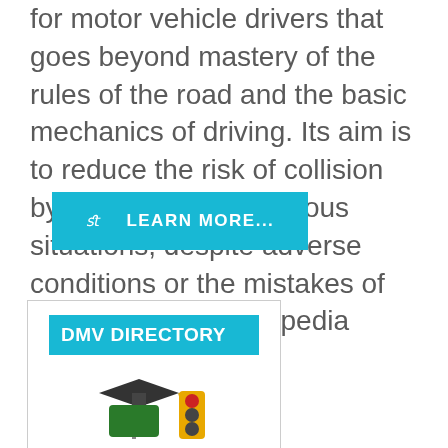for motor vehicle drivers that goes beyond mastery of the rules of the road and the basic mechanics of driving. Its aim is to reduce the risk of collision by anticipating dangerous situations, despite adverse conditions or the mistakes of others. Source: Wikipedia
[Figure (other): Cyan/teal button with search icon and text LEARN MORE...]
[Figure (other): DMV Directory box with teal header bar showing 'DMV DIRECTORY' and illustration of graduation cap, green road sign, and traffic light below]